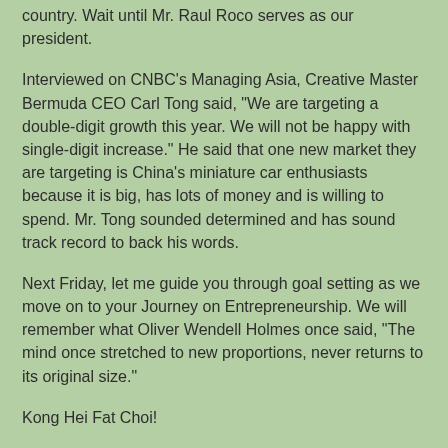country. Wait until Mr. Raul Roco serves as our president.
Interviewed on CNBC’s Managing Asia, Creative Master Bermuda CEO Carl Tong said, “We are targeting a double-digit growth this year. We will not be happy with single-digit increase.” He said that one new market they are targeting is China’s miniature car enthusiasts because it is big, has lots of money and is willing to spend. Mr. Tong sounded determined and has sound track record to back his words.
Next Friday, let me guide you through goal setting as we move on to your Journey on Entrepreneurship. We will remember what Oliver Wendell Holmes once said, “The mind once stretched to new proportions, never returns to its original size.”
Kong Hei Fat Choi!
(Moje Ramos-Aquino is president of Paradigms & Paradoxes Corp and facilitates Strategic Thinking and Planning Workshops. Her email address is moje@mydestiny.net)
Moje Ramos-Aquino, FPM at 3:57 PM    No comments: